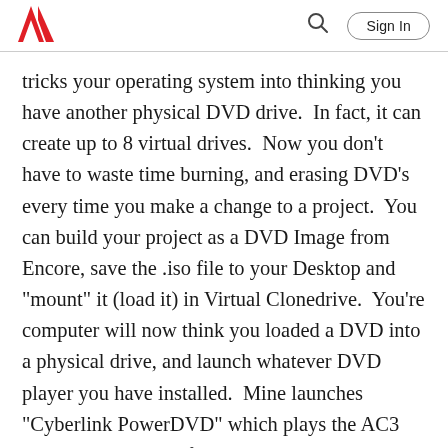Adobe | Sign In
tricks your operating system into thinking you have another physical DVD drive.  In fact, it can create up to 8 virtual drives.  Now you don't have to waste time burning, and erasing DVD's every time you make a change to a project.  You can build your project as a DVD Image from Encore, save the .iso file to your Desktop and "mount" it (load it) in Virtual Clonedrive.  You're computer will now think you loaded a DVD into a physical drive, and launch whatever DVD player you have installed.  Mine launches "Cyberlink PowerDVD" which plays the AC3 audio-only DVD in full surround sound on my computer.
Building and testing projects this way will save you